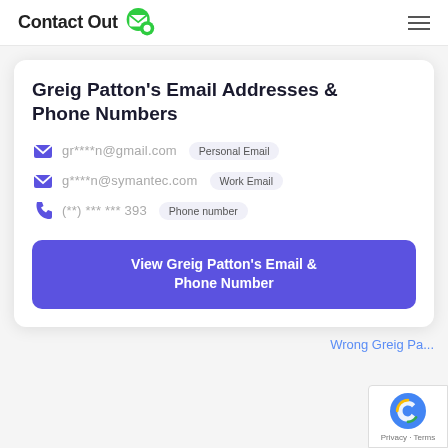ContactOut
Greig Patton's Email Addresses & Phone Numbers
gr****n@gmail.com  Personal Email
g****n@symantec.com  Work Email
(**) *** *** 393  Phone number
View Greig Patton's Email & Phone Number
Wrong Greig Pa...